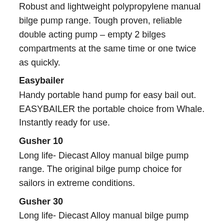Robust and lightweight polypropylene manual bilge pump range. Tough proven, reliable double acting pump – empty 2 bilges compartments at the same time or one twice as quickly.
Easybailer
Handy portable hand pump for easy bail out. EASYBAILER the portable choice from Whale. Instantly ready for use.
Gusher 10
Long life- Diecast Alloy manual bilge pump range. The original bilge pump choice for sailors in extreme conditions.
Gusher 30
Long life- Diecast Alloy manual bilge pump range. Whale's largest high capacity heavy duty bilge pump.
Gusher Titan
Robust and lightweight polypropylene manual bilge pump range. Combines powerful performance and lightweight design.
Gusher Urchin